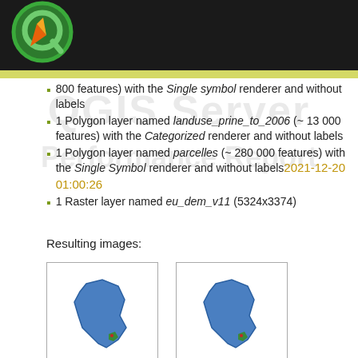[Figure (logo): QGIS logo on dark header bar]
800 features) with the Single symbol renderer and without labels
1 Polygon layer named landuse_prine_to_2006 (~ 13 000 features) with the Categorized renderer and without labels
1 Polygon layer named parcelles (~ 280 000 features) with the Single Symbol renderer and without labels
1 Raster layer named eu_dem_v11 (5324x3374)
Resulting images:
[Figure (illustration): QGIS Server 3.10 - map image of France in a bordered box]
[Figure (illustration): QGIS Server 3.16 - map image of France in a bordered box]